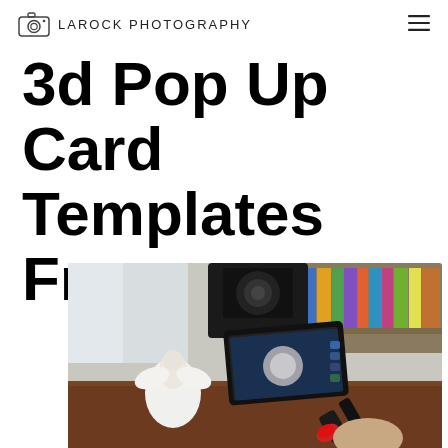LAROCK PHOTOGRAPHY
3d Pop Up Card Templates Free
[Figure (photo): A person holding a 3D scanner device pointed at a white angel figurine on a wooden desk, with a smartphone showing a 3D scanning app. Bookshelves visible in background.]